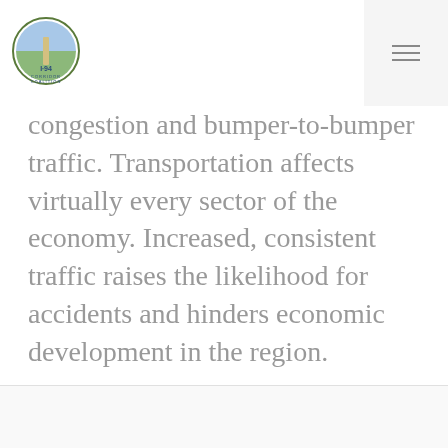[Figure (logo): I-94 Corridor Coalition circular logo with road/agricultural imagery]
congestion and bumper-to-bumper traffic. Transportation affects virtually every sector of the economy. Increased, consistent traffic raises the likelihood for accidents and hinders economic development in the region.